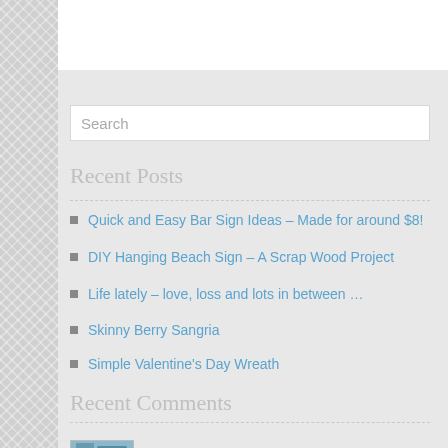Search
Recent Posts
Quick and Easy Bar Sign Ideas – Made for around $8!
DIY Hanging Beach Sign – A Scrap Wood Project
Life lately – love, loss and lots in between …
Skinny Berry Sangria
Simple Valentine's Day Wreath
Recent Comments
simplyschulze on "Where the Wild Things A…"